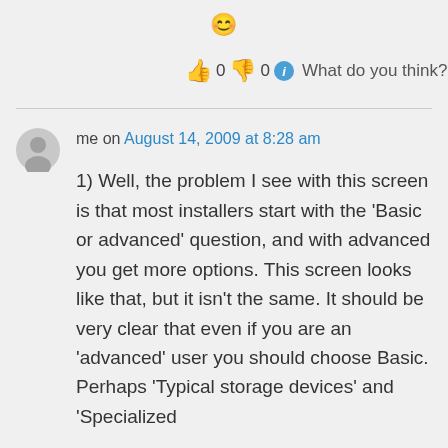[Figure (other): Smiley face emoji]
👍 0 👎 0 ℹ What do you think?
me on August 14, 2009 at 8:28 am
1) Well, the problem I see with this screen is that most installers start with the 'Basic or advanced' question, and with advanced you get more options. This screen looks like that, but it isn't the same. It should be very clear that even if you are an 'advanced' user you should choose Basic. Perhaps 'Typical storage devices' and 'Specialized